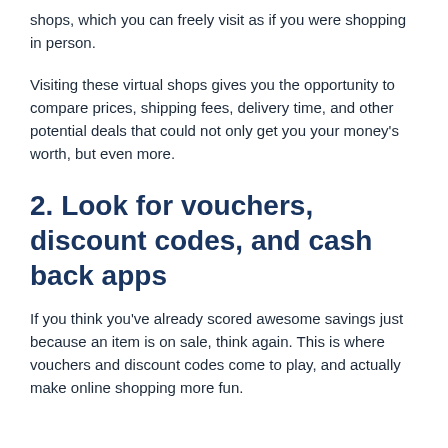shops, which you can freely visit as if you were shopping in person.
Visiting these virtual shops gives you the opportunity to compare prices, shipping fees, delivery time, and other potential deals that could not only get you your money's worth, but even more.
2. Look for vouchers, discount codes, and cash back apps
If you think you've already scored awesome savings just because an item is on sale, think again. This is where vouchers and discount codes come to play, and actually make online shopping more fun.